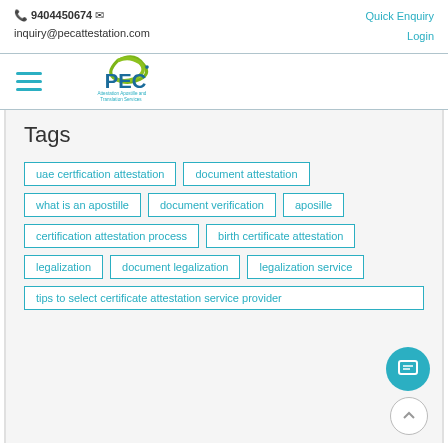9404450674  inquiry@pecattestation.com  Quick Enquiry  Login
[Figure (logo): PEC Attestation Apostille and Translation Services logo with green swoosh and blue PEC text]
Tags
uae certfication attestation
document attestation
what is an apostille
document verification
aposille
certification attestation process
birth certificate attestation
legalization
document legalization
legalization service
tips to select certificate attestation service provider